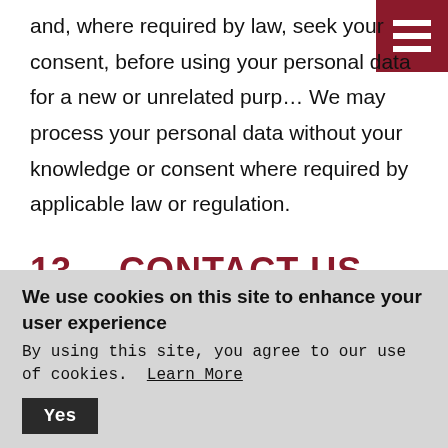and, where required by law, seek your consent, before using your personal data for a new or unrelated purpose. We may process your personal data without your knowledge or consent where required by applicable law or regulation.
13.   CONTACT US
We have appointed a Privacy Officer to oversee compliance with this privacy policy. If you have any questions, comments or requests regarding this policy or how we use your personal data please contact our
We use cookies on this site to enhance your user experience
By using this site, you agree to our use of cookies.  Learn More
Yes